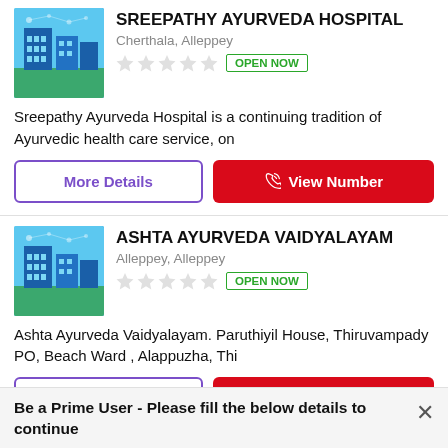SREEPATHY AYURVEDA HOSPITAL
Cherthala, Alleppey
OPEN NOW
Sreepathy Ayurveda Hospital is a continuing tradition of Ayurvedic health care service, on
More Details
View Number
ASHTA AYURVEDA VAIDYALAYAM
Alleppey, Alleppey
OPEN NOW
Ashta Ayurveda Vaidyalayam. Paruthiyil House, Thiruvampady PO, Beach Ward , Alappuzha, Thi
More Details
View Number
Be a Prime User - Please fill the below details to continue